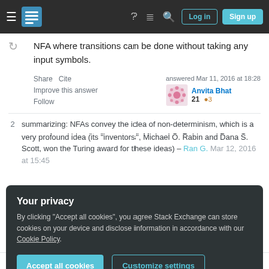Stack Exchange navigation bar with Log in and Sign up buttons
NFA where transitions can be done without taking any input symbols.
Share   Cite
Improve this answer
Follow
answered Mar 11, 2016 at 18:28
Anvita Bhat
21  3
2   summarizing: NFAs convey the idea of non-determinism, which is a very profound idea (its "inventors", Michael O. Rabin and Dana S. Scott, won the Turing award for these ideas) – Ran G. Mar 12, 2016 at 15:45
Your privacy
By clicking "Accept all cookies", you agree Stack Exchange can store cookies on your device and disclose information in accordance with our Cookie Policy.
Accept all cookies   Customize settings
In short, if the number of states is simply too high